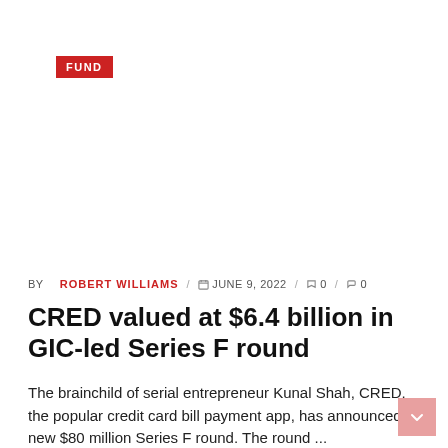FUND
BY ROBERT WILLIAMS / JUNE 9, 2022 / 0 / 0
CRED valued at $6.4 billion in GIC-led Series F round
The brainchild of serial entrepreneur Kunal Shah, CRED, the popular credit card bill payment app, has announced a new $80 million Series F round. The round ...